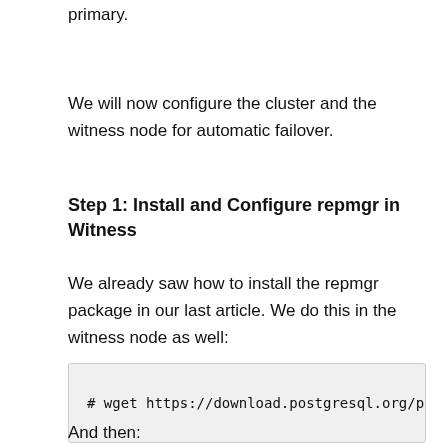primary.
We will now configure the cluster and the witness node for automatic failover.
Step 1: Install and Configure repmgr in Witness
We already saw how to install the repmgr package in our last article. We do this in the witness node as well:
# wget https://download.postgresql.org/pub/repos/
And then: